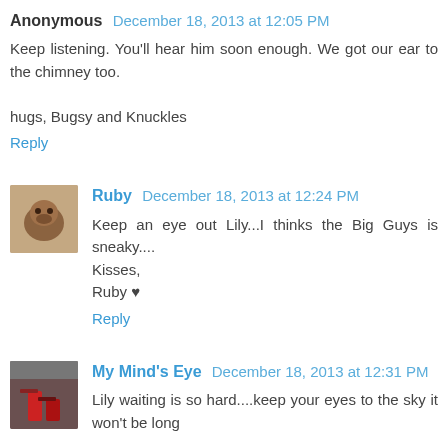Anonymous December 18, 2013 at 12:05 PM
Keep listening. You'll hear him soon enough. We got our ear to the chimney too.

hugs, Bugsy and Knuckles
Reply
Ruby December 18, 2013 at 12:24 PM
Keep an eye out Lily...I thinks the Big Guys is sneaky.... Kisses,
Ruby ♥
Reply
My Mind's Eye December 18, 2013 at 12:31 PM
Lily waiting is so hard....keep your eyes to the sky it won't be long